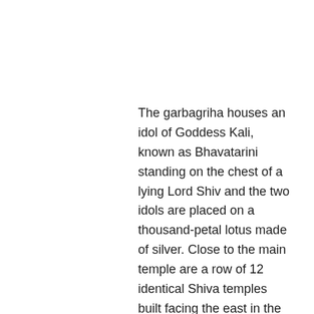The garbagriha houses an idol of Goddess Kali, known as Bhavatarini standing on the chest of a lying Lord Shiv and the two idols are placed on a thousand-petal lotus made of silver. Close to the main temple are a row of 12 identical Shiva temples built facing the east in the typical Bengal architecture. The north east of the temple complex has a Vishnu temple.
Nahavat-Khana the chamber in the northwestern corner just beyond the last of the Shiva temples, is where Rama Krishna Paramhamsa spent a considerable part of his life and attained a spiritual vision.